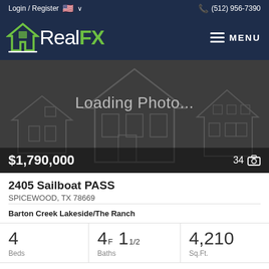Login / Register  🇺🇸 ∨    (512) 956-7390
[Figure (logo): RealFX logo with green house icon on dark navy background]
[Figure (photo): Loading Photo... placeholder with faint house outline on dark background, $1,790,000 price and 34 photos count]
2405 Sailboat PASS
SPICECWOOD, TX 78669
Barton Creek Lakeside/The Ranch
| Beds | Baths | Sq.Ft. |
| --- | --- | --- |
| 4 | 4F 1 1/2 | 4,210 |